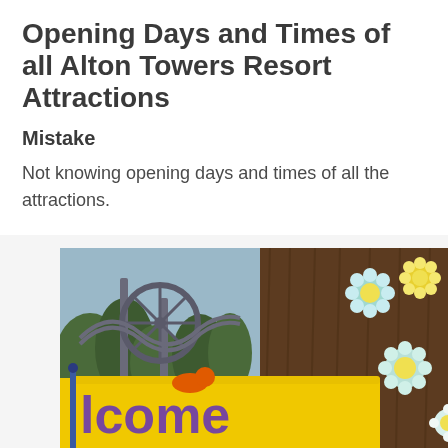Opening Days and Times of all Alton Towers Resort Attractions
Mistake
Not knowing opening days and times of all the attractions.
[Figure (photo): Outdoor photo at Alton Towers showing a yellow welcome banner with purple text 'welcome', decorative flower decorations on a wooden structure, a roller coaster structure and trees in the background.]